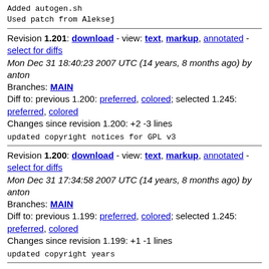Added autogen.sh
Used patch from Aleksej
Revision 1.201: download - view: text, markup, annotated - select for diffs
Mon Dec 31 18:40:23 2007 UTC (14 years, 8 months ago) by
anton
Branches: MAIN
Diff to: previous 1.200: preferred, colored; selected 1.245:
preferred, colored
Changes since revision 1.200: +2 -3 lines
updated copyright notices for GPL v3
Revision 1.200: download - view: text, markup, annotated - select for diffs
Mon Dec 31 17:34:58 2007 UTC (14 years, 8 months ago) by
anton
Branches: MAIN
Diff to: previous 1.199: preferred, colored; selected 1.245:
preferred, colored
Changes since revision 1.199: +1 -1 lines
updated copyright years
Revision 1.199: download - view: text, markup, annotated -